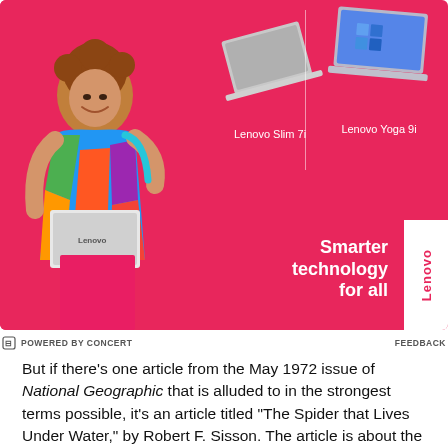[Figure (photo): Lenovo advertisement on a hot pink/red background featuring a smiling woman in colorful clothing holding a white laptop, with product images of Lenovo Slim 7i and Lenovo Yoga 9i laptops, and the slogan 'Smarter technology for all' with the Lenovo logo badge.]
⊟ POWERED BY CONCERT    FEEDBACK
But if there's one article from the May 1972 issue of National Geographic that is alluded to in the strongest terms possible, it's an article titled "The Spider that Lives Under Water," by Robert F. Sisson. The article is about the argyroneta aquatica, which,